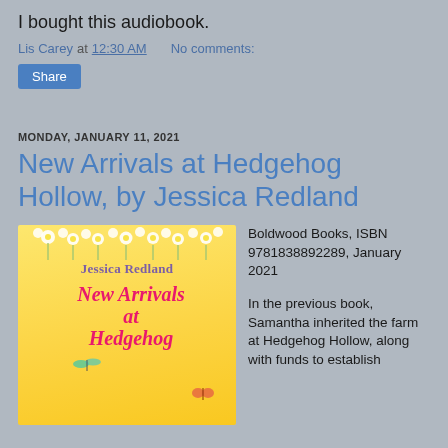I bought this audiobook.
Lis Carey at 12:30 AM   No comments:
Share
MONDAY, JANUARY 11, 2021
New Arrivals at Hedgehog Hollow, by Jessica Redland
[Figure (illustration): Book cover for 'New Arrivals at Hedgehog Hollow' by Jessica Redland. Yellow background with white flowers at top, author name in purple, title in pink script, dragonfly and butterfly decorations.]
Boldwood Books, ISBN 9781838892289, January 2021
In the previous book, Samantha inherited the farm at Hedgehog Hollow, along with funds to establish